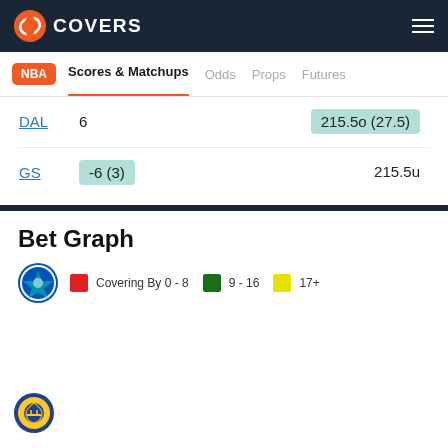COVERS
NBA | Scores & Matchups | Odds | Props | Futures
| Team | Spread | Total |
| --- | --- | --- |
| DAL | 6 | 215.5o (27.5) |
| GS | -6 (3) | 215.5u |
Bet Graph
[Figure (infographic): Bet Graph legend showing Dallas Mavericks and Golden State Warriors team icons with color legend: red = Covering By 0-8, green = 9-16, yellow = 17+]